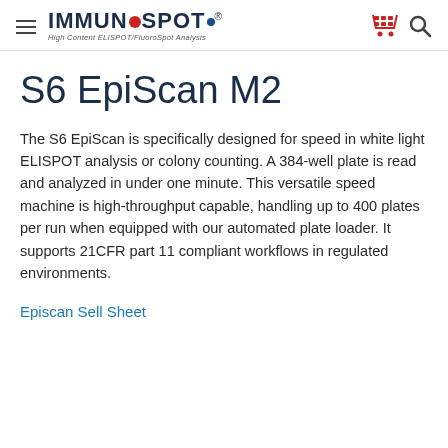ImmunoSpot® High Content ELISPOT/FluoroSpot Analysis
S6 EpiScan M2
The S6 EpiScan is specifically designed for speed in white light ELISPOT analysis or colony counting. A 384-well plate is read and analyzed in under one minute. This versatile speed machine is high-throughput capable, handling up to 400 plates per run when equipped with our automated plate loader. It supports 21CFR part 11 compliant workflows in regulated environments.
Episcan Sell Sheet